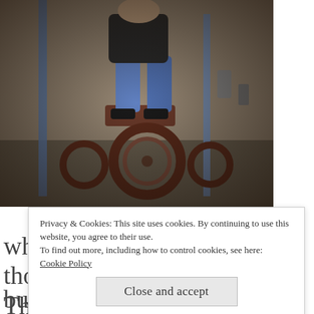[Figure (photo): A person sitting on or riding an old-fashioned tricycle or antique vehicle in what appears to be a workshop or garage. The photo has a vignette/worn border effect. The person is wearing jeans and the vehicle has large rusty wheels.]
So what is a Nonlocal leap of thought? The best way to describe this is to
Privacy & Cookies: This site uses cookies. By continuing to use this website, you agree to their use.
To find out more, including how to control cookies, see here:
Cookie Policy
Close and accept
builds upon the other in a linear